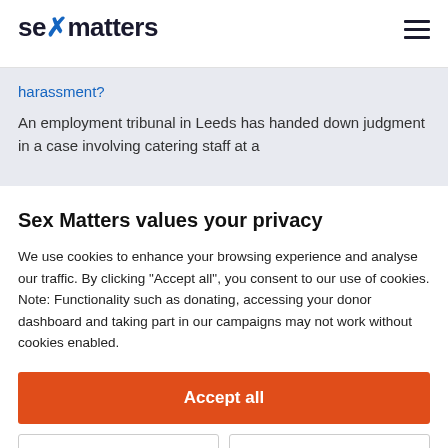sex matters
harassment?
An employment tribunal in Leeds has handed down judgment in a case involving catering staff at a
Sex Matters values your privacy
We use cookies to enhance your browsing experience and analyse our traffic. By clicking "Accept all", you consent to our use of cookies. Note: Functionality such as donating, accessing your donor dashboard and taking part in our campaigns may not work without cookies enabled.
Accept all
Customise
Reject all